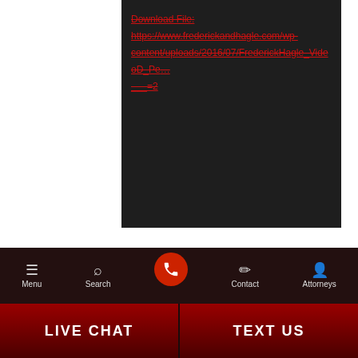[Figure (screenshot): Dark background block showing a download file link text: 'Download File: https://www.frederickandhagle.com/wp-content/uploads/2016/07/FrederickHagle_VideoD_Pe...=2' in red strikethrough/underline style]
[Figure (other): Red angular 'Contact Us' tab on right side of page, text rotated vertically]
[Figure (logo): Accessibility icon: blue circle with white person/wheelchair symbol]
Leave a Reply
COMMENT *
[Figure (screenshot): Bottom navigation bar with dark background containing Menu, Search, phone call button (red circle), Contact, and Attorneys icons]
LIVE CHAT
TEXT US